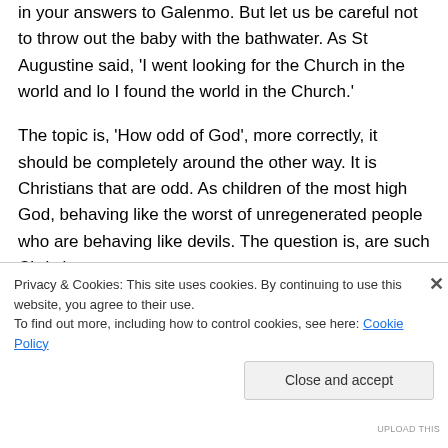in your answers to Galenmo. But let us be careful not to throw out the baby with the bathwater. As St Augustine said, 'I went looking for the Church in the world and lo I found the world in the Church.'
The topic is, 'How odd of God', more correctly, it should be completely around the other way. It is Christians that are odd. As children of the most high God, behaving like the worst of unregenerated people who are behaving like devils. The question is, are such Christians at
Privacy & Cookies: This site uses cookies. By continuing to use this website, you agree to their use.
To find out more, including how to control cookies, see here: Cookie Policy
Close and accept